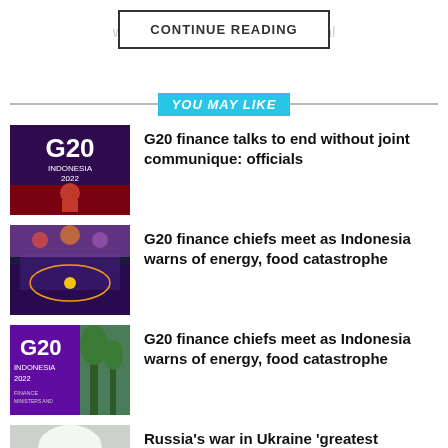The global ... data, wants to ... a deal
CONTINUE READING
YOU MAY LIKE
[Figure (photo): G20 Indonesia 2022 banner with a woman speaking at a podium]
G20 finance talks to end without joint communique: officials
[Figure (photo): G20 finance meeting venue interior with colorful lighting]
G20 finance chiefs meet as Indonesia warns of energy, food catastrophe
[Figure (photo): G20 Indonesia banner outdoors with trees]
G20 finance chiefs meet as Indonesia warns of energy, food catastrophe
[Figure (photo): Portrait of elderly woman with white hair (Janet Yellen)]
Russia’s war in Ukraine ‘greatest challenge’ to global economy: Yellen